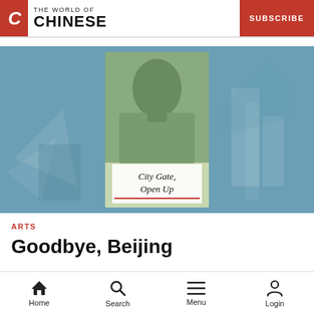THE WORLD OF CHINESE | SUBSCRIBE
[Figure (photo): Hero image showing a book cover 'City Gate, Open Up' overlaid on a teal/blue abstract background. The book cover features a black-and-white photo of a young man in a sleeveless shirt.]
ARTS
Goodbye, Beijing
Home | Search | Menu | Login